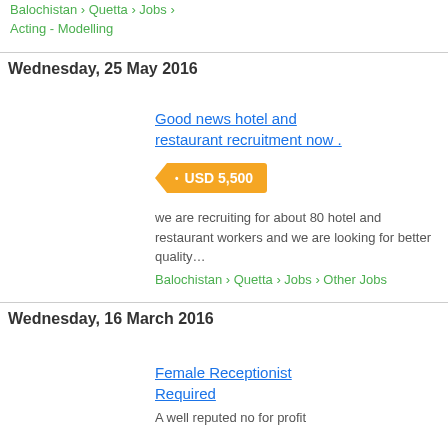Balochistan › Quetta › Jobs › Acting - Modelling
Wednesday, 25 May 2016
Good news hotel and restaurant recruitment now .
USD 5,500
we are recruiting for about 80 hotel and restaurant workers and we are looking for better quality…
Balochistan › Quetta › Jobs › Other Jobs
Wednesday, 16 March 2016
Female Receptionist Required
A well reputed no for profit